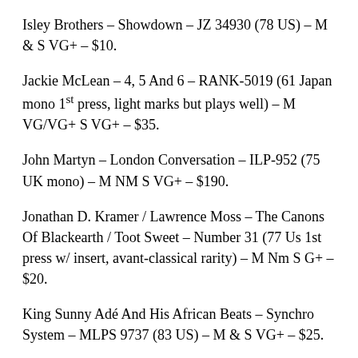Isley Brothers – Showdown – JZ 34930 (78 US) – M & S VG+ – $10.
Jackie McLean – 4, 5 And 6 – RANK-5019 (61 Japan mono 1st press, light marks but plays well) – M VG/VG+ S VG+ – $35.
John Martyn – London Conversation – ILP-952 (75 UK mono) – M NM S VG+ – $190.
Jonathan D. Kramer / Lawrence Moss – The Canons Of Blackearth / Toot Sweet – Number 31 (77 Us 1st press w/ insert, avant-classical rarity) – M Nm S G+ – $20.
King Sunny Adé And His African Beats – Synchro System – MLPS 9737 (83 US) – M & S VG+ – $25.